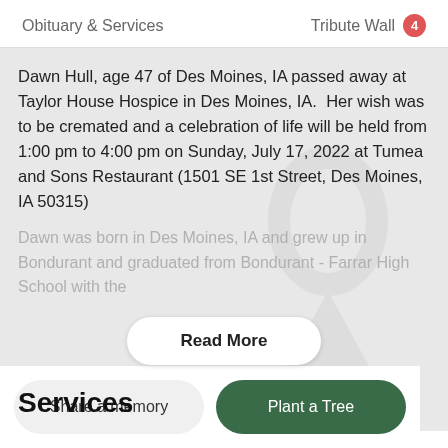Obituary & Services   Tribute Wall 4
Dawn Hull, age 47 of Des Moines, IA passed away at Taylor House Hospice in Des Moines, IA.  Her wish was to be cremated and a celebration of life will be held from 1:00 pm to 4:00 pm on Sunday, July 17, 2022 at Tumea and Sons Restaurant (1501 SE 1st Street, Des Moines, IA 50315)
Dawn was born in Des Moines, IA and grew up in Bondurant and graduated from Bondurant - Farrar High School with the
Read More
Services
Share a memory
Plant a Tree